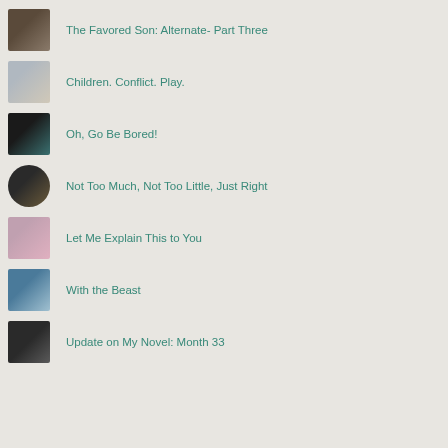The Favored Son: Alternate- Part Three
Children. Conflict. Play.
Oh, Go Be Bored!
Not Too Much, Not Too Little, Just Right
Let Me Explain This to You
With the Beast
Update on My Novel: Month 33